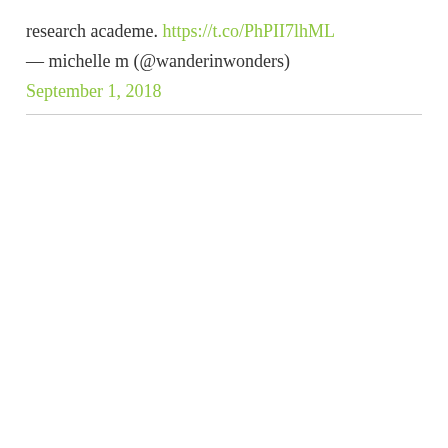research academe. https://t.co/PhPII7lhML
— michelle m (@wanderinwonders)
September 1, 2018